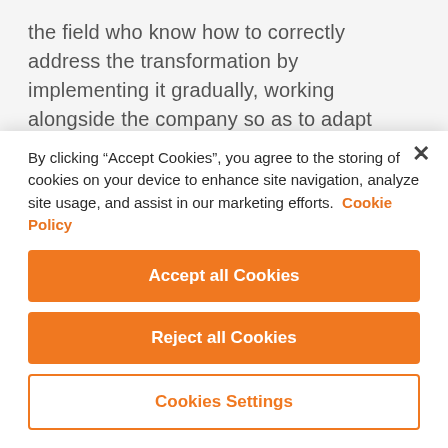the field who know how to correctly address the transformation by implementing it gradually, working alongside the company so as to adapt interventions to actual needs, defined case by case.
In this sense, Doxee is undoubtedly an ideal partner to undertake this transformation, also
By clicking “Accept Cookies”, you agree to the storing of cookies on your device to enhance site navigation, analyze site usage, and assist in our marketing efforts. Cookie Policy
Accept all Cookies
Reject all Cookies
Cookies Settings